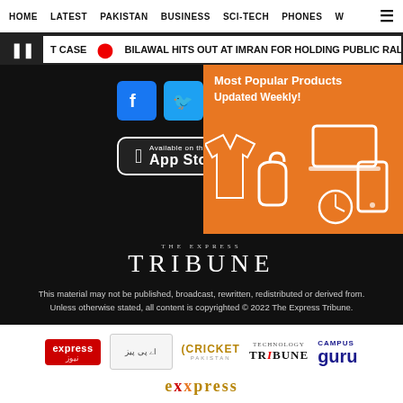HOME   LATEST   PAKISTAN   BUSINESS   SCI-TECH   PHONES   W
T CASE  •  BILAWAL HITS OUT AT IMRAN FOR HOLDING PUBLIC RALLIES DESPITE FL…
[Figure (screenshot): Social media icons: Facebook, Twitter, YouTube; App Store download button; orange advertisement banner for Most Popular Products updated weekly]
[Figure (logo): The Express Tribune logo in white on black background]
This material may not be published, broadcast, rewritten, redistributed or derived from. Unless otherwise stated, all content is copyrighted © 2022 The Express Tribune.
[Figure (logo): Row of partner logos: Express News, Aap (Urdu), Cricket Pakistan, Tech Tribune, Campus Guru, Express (Urdu)]